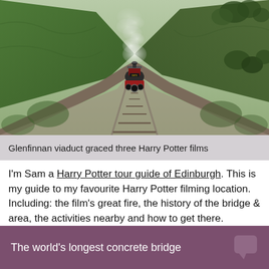[Figure (photo): Aerial/overhead view of a red steam train (Jacobite/Hogwarts Express) traveling along the Glenfinnan Viaduct, surrounded by lush green Scottish hills, with steam billowing from the engine]
Glenfinnan viaduct graced three Harry Potter films
I'm Sam a Harry Potter tour guide of Edinburgh. This is my guide to my favourite Harry Potter filming location. Including: the film's great fire, the history of the bridge & area, the activities nearby and how to get there.
The world's longest concrete bridge